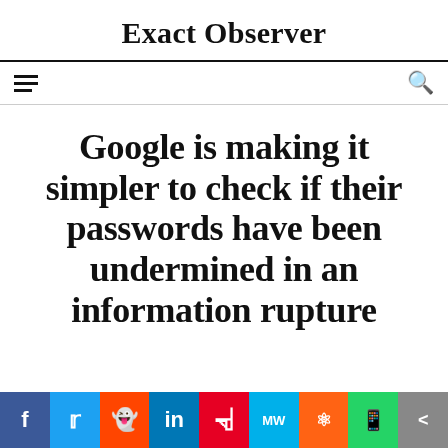Exact Observer
Google is making it simpler to check if their passwords have been undermined in an information rupture
[Figure (infographic): Social media share buttons bar: Facebook, Twitter, Reddit, LinkedIn, Pinterest, MeWe, Mix, WhatsApp, Share]